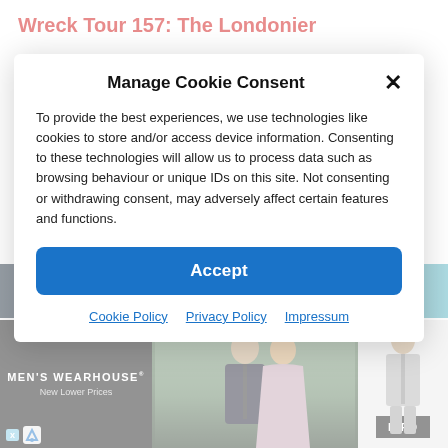Wreck Tour 157: The Londonier
Manage Cookie Consent
To provide the best experiences, we use technologies like cookies to store and/or access device information. Consenting to these technologies will allow us to process data such as browsing behaviour or unique IDs on this site. Not consenting or withdrawing consent, may adversely affect certain features and functions.
Accept
Cookie Policy   Privacy Policy   Impressum
[Figure (screenshot): Advertisement banner for Men's Wearhouse featuring a couple in formal wear and a man in a grey suit, with 'New Lower Prices' tagline and INFO button]